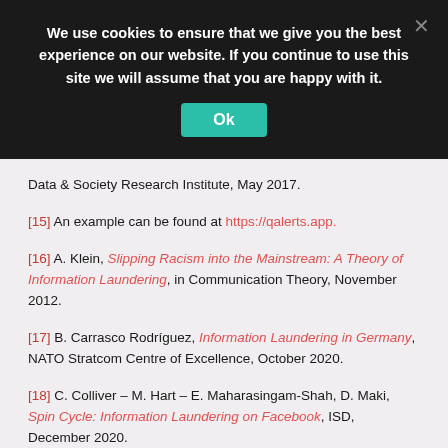[Figure (screenshot): Cookie consent banner with dark background, bold white text reading 'We use cookies to ensure that we give you the best experience on our website. If you continue to use this site we will assume that you are happy with it.' with a teal 'Ok' button and a grey X close button.]
Data & Society Research Institute, May 2017.
[15] An example can be found at https://qalerts.app.
[16] A. Klein, Slipping Racism into the Mainstream: A Theory of Information Laundering, in Communication Theory, November 2012.
[17] B. Carrasco Rodríguez, Information Laundering in Germany, NATO Stratcom Centre of Excellence, October 2020.
[18] C. Colliver – M. Hart – E. Maharasingam-Shah, D. Maki, Spin Cycle: Information Laundering on Facebook, ISD, December 2020.